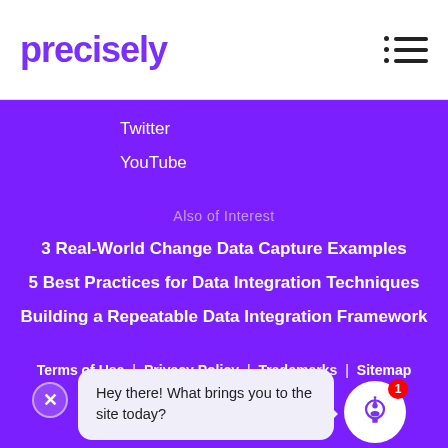precisely
Twitter
YouTube
Also of Interest
3 Real-World Change Data Capture Examples
5 Best Practices for Data Integration Techniques
Building a Repeatable Data Integration Framework
Terms of Use | Privacy Policy | Trademarks | Sitemap
[Figure (screenshot): Chatbot popup with message: Hey there! What brings you to the site today? with a robot avatar icon and notification badge showing 1]